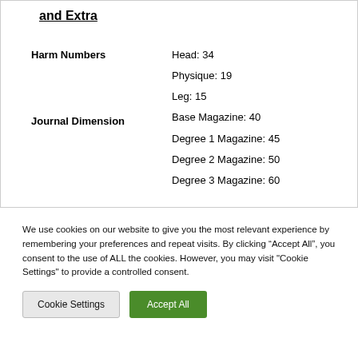and Extra
| Label | Values |
| --- | --- |
| Harm Numbers | Head: 34
Physique: 19
Leg: 15 |
| Journal Dimension | Base Magazine: 40
Degree 1 Magazine: 45
Degree 2 Magazine: 50
Degree 3 Magazine: 60 |
We use cookies on our website to give you the most relevant experience by remembering your preferences and repeat visits. By clicking “Accept All”, you consent to the use of ALL the cookies. However, you may visit "Cookie Settings" to provide a controlled consent.
Cookie Settings | Accept All